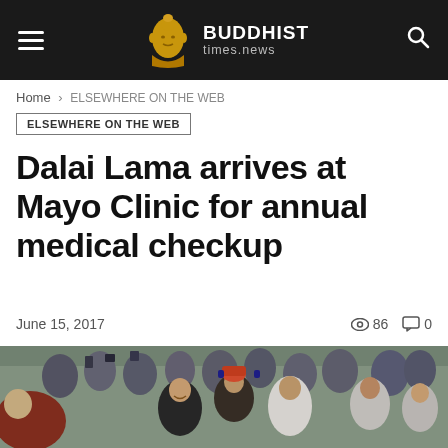BUDDHIST times.news
Home › ELSEWHERE ON THE WEB
ELSEWHERE ON THE WEB
Dalai Lama arrives at Mayo Clinic for annual medical checkup
June 15, 2017   👁 86   💬 0
[Figure (photo): Crowd scene showing the Dalai Lama arriving and being greeted by smiling people in traditional Tibetan dress and modern clothing, with photographers and supporters in the background.]